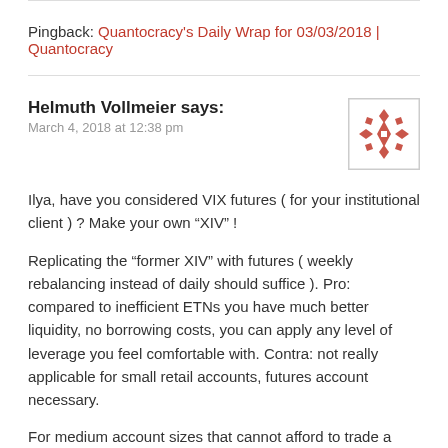Pingback: Quantocracy's Daily Wrap for 03/03/2018 | Quantocracy
Helmuth Vollmeier says:
March 4, 2018 at 12:38 pm
Ilya, have you considered VIX futures ( for your institutional client ) ? Make your own “XIV” !
Replicating the “former XIV” with futures ( weekly rebalancing instead of daily should suffice ). Pro: compared to inefficient ETNs you have much better liquidity, no borrowing costs, you can apply any level of leverage you feel comfortable with. Contra: not really applicable for small retail accounts, futures account necessary.
For medium account sizes that cannot afford to trade a combination